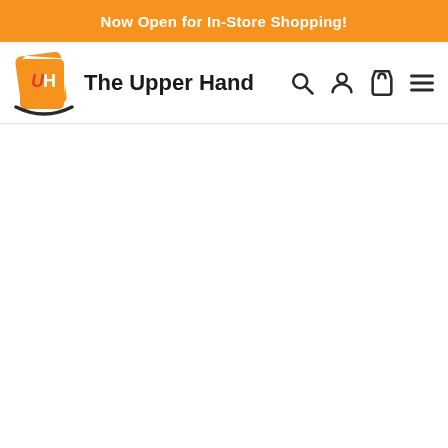Now Open for In-Store Shopping!
[Figure (logo): The Upper Hand store logo with UH initials on an orange card shape with a swoosh underneath, followed by the text 'The Upper Hand' and navigation icons for search, account, cart, and menu]